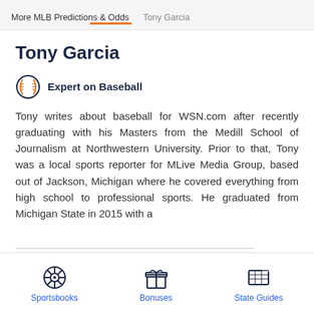More MLB Predictions & Odds   Tony Garcia
Tony Garcia
Expert on Baseball
Tony writes about baseball for WSN.com after recently graduating with his Masters from the Medill School of Journalism at Northwestern University. Prior to that, Tony was a local sports reporter for MLive Media Group, based out of Jackson, Michigan where he covered everything from high school to professional sports. He graduated from Michigan State in 2015 with a
Sportsbooks   Bonuses   State Guides